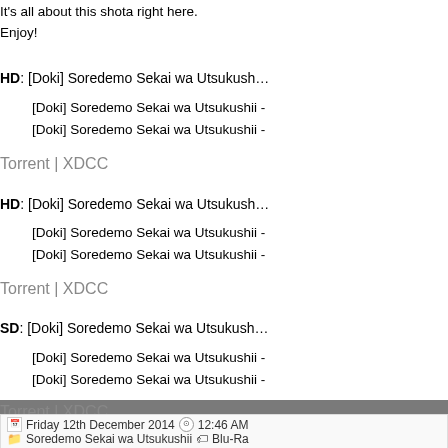It's all about this shota right here.
Enjoy!
HD: [Doki] Soredemo Sekai wa Utsukushi -
[Doki] Soredemo Sekai wa Utsukushii -
[Doki] Soredemo Sekai wa Utsukushii -
Torrent | XDCC
HD: [Doki] Soredemo Sekai wa Utsukushi -
[Doki] Soredemo Sekai wa Utsukushii -
[Doki] Soredemo Sekai wa Utsukushii -
Torrent | XDCC
SD: [Doki] Soredemo Sekai wa Utsukushi -
[Doki] Soredemo Sekai wa Utsukushii -
[Doki] Soredemo Sekai wa Utsukushii -
Torrent | XDCC
Friday 12th December 2014   12:46 AM
Soredemo Sekai wa Utsukushii   Blu-Ra
Soredemo Sekai w